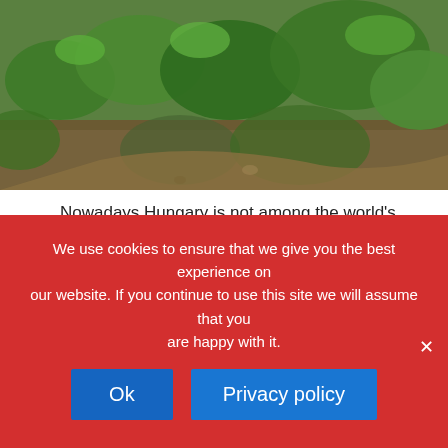[Figure (photo): Outdoor nature photo showing green plants and ground cover, viewed from above]
Nowadays Hungary is not among the world's dominant was responsible for 25% of the gold and 20% of the sil only: the 80% of the continent's gold production came
[Figure (photo): Outdoor nature photo showing trees with green foliage against a bright sky]
We use cookies to ensure that we give you the best experience on our website. If you continue to use this site we will assume that you are happy with it.